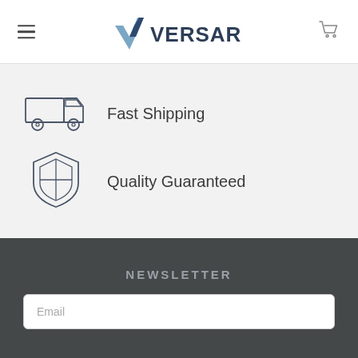VERSARE
[Figure (illustration): Delivery truck icon for Fast Shipping feature]
Fast Shipping
[Figure (illustration): Heraldic shield icon for Quality Guaranteed feature]
Quality Guaranteed
NEWSLETTER
Email